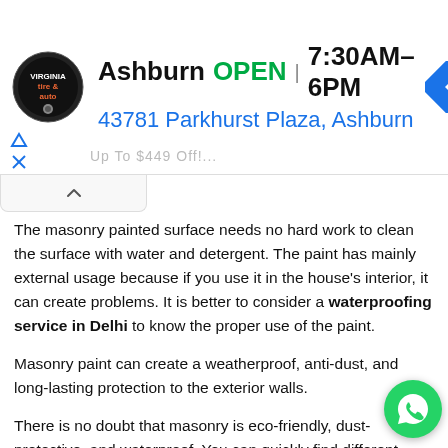[Figure (screenshot): Advertisement banner for Virginia Tire & Auto, Ashburn location. Shows logo, 'Ashburn OPEN 7:30AM–6PM', address '43781 Parkhurst Plaza, Ashburn', and a blue navigation arrow icon.]
The masonry painted surface needs no hard work to clean the surface with water and detergent. The paint has mainly external usage because if you use it in the house's interior, it can create problems. It is better to consider a waterproofing service in Delhi to know the proper use of the paint.
Masonry paint can create a weatherproof, anti-dust, and long-lasting protection to the exterior walls.
There is no doubt that masonry is eco-friendly, dust-protective, and waterproof. You can quickly find different shades in the marketplace. The durability of the paint is more than ten years, and you don't have to repaint it within the next decade. It is also an anti-bacterial paint that comprises fungicide and algaecide to prevent algal and fungal buildup.